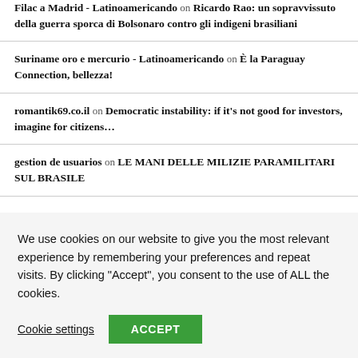Filac a Madrid - Latinoamericando on Ricardo Rao: un sopravvissuto della guerra sporca di Bolsonaro contro gli indigeni brasiliani
Suriname oro e mercurio - Latinoamericando on È la Paraguay Connection, bellezza!
romantik69.co.il on Democratic instability: if it's not good for investors, imagine for citizens...
gestion de usuarios on LE MANI DELLE MILIZIE PARAMILITARI SUL BRASILE
We use cookies on our website to give you the most relevant experience by remembering your preferences and repeat visits. By clicking "Accept", you consent to the use of ALL the cookies.
Cookie settings | ACCEPT